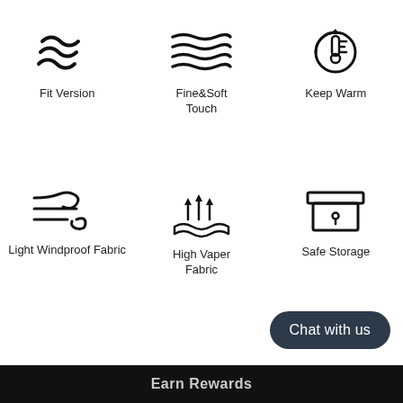[Figure (infographic): Six product feature icons in a 3x2 grid: Fit Version (wavy lines), Fine&Soft Touch (wavy lines), Keep Warm (thermometer with refresh), Light Windproof Fabric (wind icon), High Vaper Fabric (steam/fabric icon), Safe Storage (box with drawer)]
Chat with us
Earn Rewards